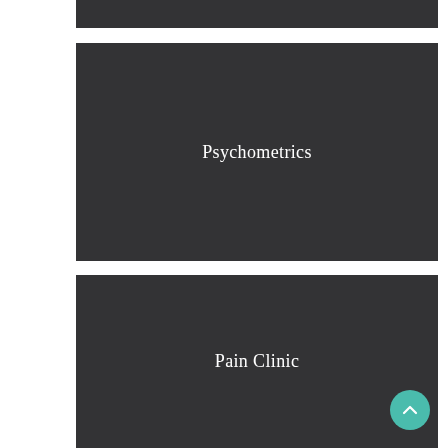[Figure (illustration): Dark gray rectangular card panel at top, partial/cropped]
[Figure (illustration): Dark gray rectangular card with centered white serif text reading 'Psychometrics']
[Figure (illustration): Dark gray rectangular card with centered white serif text reading 'Pain Clinic']